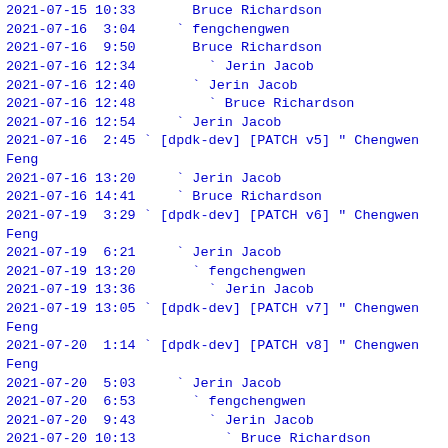2021-07-15 10:33       Bruce Richardson
2021-07-16  3:04     ` fengchengwen
2021-07-16  9:50       Bruce Richardson
2021-07-16 12:34         ` Jerin Jacob
2021-07-16 12:40       ` Jerin Jacob
2021-07-16 12:48         ` Bruce Richardson
2021-07-16 12:54     ` Jerin Jacob
2021-07-16  2:45 ` [dpdk-dev] [PATCH v5] " Chengwen Feng
2021-07-16 13:20     ` Jerin Jacob
2021-07-16 14:41     ` Bruce Richardson
2021-07-19  3:29 ` [dpdk-dev] [PATCH v6] " Chengwen Feng
2021-07-19  6:21     ` Jerin Jacob
2021-07-19 13:20       ` fengchengwen
2021-07-19 13:36         ` Jerin Jacob
2021-07-19 13:05 ` [dpdk-dev] [PATCH v7] " Chengwen Feng
2021-07-20  1:14 ` [dpdk-dev] [PATCH v8] " Chengwen Feng
2021-07-20  5:03     ` Jerin Jacob
2021-07-20  6:53       ` fengchengwen
2021-07-20  9:43         ` Jerin Jacob
2021-07-20 10:13           ` Bruce Richardson
2021-07-20 11:12 ` [dpdk-dev] [PATCH v9] " Chengwen Feng
2021-07-20 12:05     ` Bruce Richardson
2021-07-20 12:46 ` [dpdk-dev] [PATCH v10] " Chengwen Feng
2021-07-26  6:53     ` fengchengwen
2021-07-26  8:01       ` Bruce Richardson